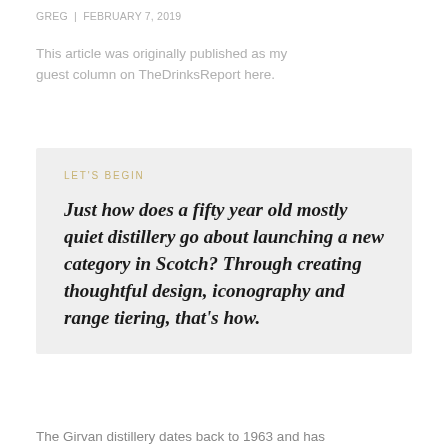GREG | FEBRUARY 7, 2019
This article was originally published as my guest column on TheDrinksReport here.
LET'S BEGIN
Just how does a fifty year old mostly quiet distillery go about launching a new category in Scotch? Through creating thoughtful design, iconography and range tiering, that's how.
The Girvan distillery dates back to 1963 and has